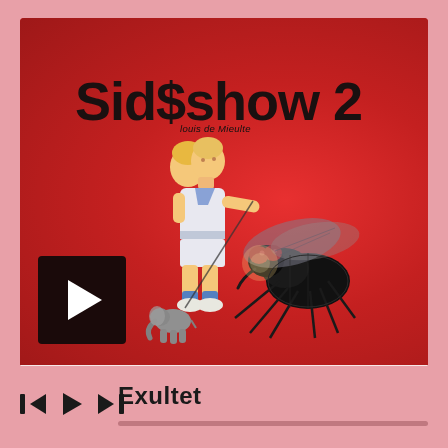[Figure (illustration): Music player interface showing album art for 'Sideshow 2' by Louis de Mieulle. Red album cover featuring a two-headed child figure walking a tiny elephant on a leash, alongside a large dark fly with red eyes. A dark play button box is in the bottom-left of the album art. Below the album art is a player bar with skip-back, play, and skip-forward controls, and the track name 'Exultet' with a progress bar.]